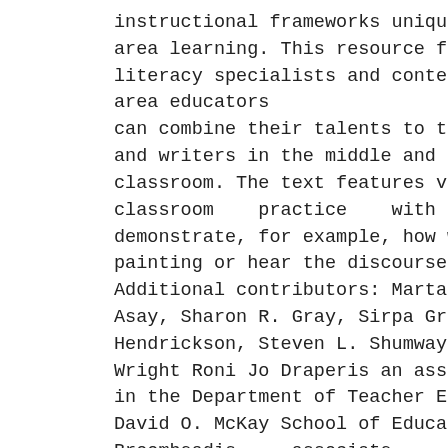instructional frameworks unique to content-area learning. This resource focuses on how literacy specialists and content-area educators can combine their talents to teach all readers and writers in the middle and secondary school classroom. The text features vignettes from classroom practice with visuals to demonstrate, for example, how we read a painting or hear the discourse of a song. Additional contributors: Marta Adair, Diane L. Asay, Sharon R. Gray, Sirpa Grierson, Scott Hendrickson, Steven L. Shumway, Geoffrey A. Wright Roni Jo Draperis an associate professor in the Department of Teacher Education in the David O. McKay School of Education.Paul Broomheadis associate professor and coordinator of the Music Education Division in the School of Music.Amy Petersen Jensenis an associate professor in the College of Fine Arts